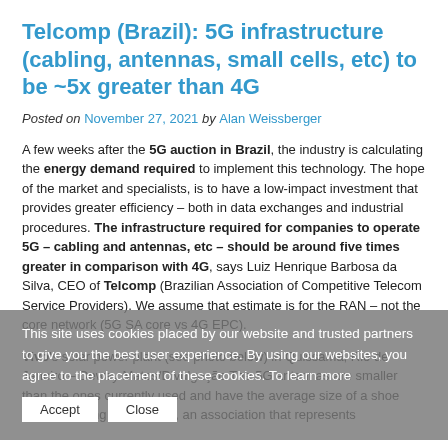Telcomp (Brazil): 5G infrastructure (cabling, antennas, small cells, etc) to be ~5x greater than 4G
Posted on November 27, 2021 by Alan Weissberger
A few weeks after the 5G auction in Brazil, the industry is calculating the energy demand required to implement this technology. The hope of the market and specialists, is to have a low-impact investment that provides greater efficiency – both in data exchanges and industrial procedures. The infrastructure required for companies to operate 5G – cabling and antennas, etc – should be around five times greater in comparison with 4G, says Luiz Henrique Barbosa da Silva, CEO of Telcomp (Brazilian Association of Competitive Telecom Service Providers). We assume that estimate is for the RAN – not the core network (5G SA core vs 4G EPC).
Vivo's solar power plant (see photo below) in Quissamã, Rio de Janeiro – Deway Matos/Divulgação The 5G antennas are smaller than the ones currently used and have the average size of a shoe box, according to Conexis, an association that represents